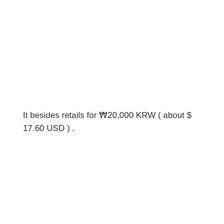It besides retails for ₩20,000 KRW ( about $ 17.60 USD ) .